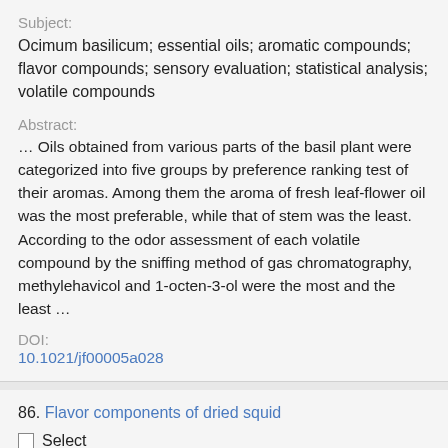Subject:
Ocimum basilicum; essential oils; aromatic compounds; flavor compounds; sensory evaluation; statistical analysis; volatile compounds
Abstract:
… Oils obtained from various parts of the basil plant were categorized into five groups by preference ranking test of their aromas. Among them the aroma of fresh leaf-flower oil was the most preferable, while that of stem was the least. According to the odor assessment of each volatile compound by the sniffing method of gas chromatography, methylehavicol and 1-octen-3-ol were the most and the least …
DOI:
10.1021/jf00005a028
86. Flavor components of dried squid
Select